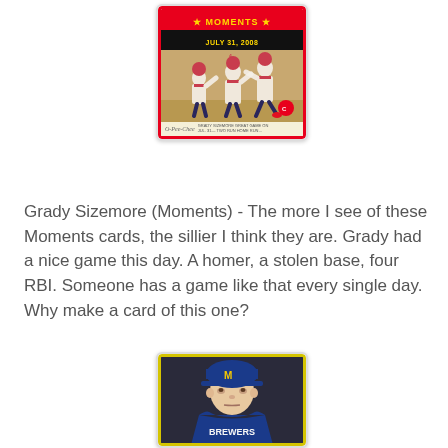[Figure (photo): Baseball trading card labeled 'Moments - July 31, 2008' showing baseball players celebrating on field, O-Pee-Chee brand card with red border]
Grady Sizemore (Moments) - The more I see of these Moments cards, the sillier I think they are. Grady had a nice game this day. A homer, a stolen base, four RBI. Someone has a game like that every single day. Why make a card of this one?
[Figure (photo): Baseball trading card with yellow border showing a player in Milwaukee Brewers blue cap and jersey, portrait photo against dark background]